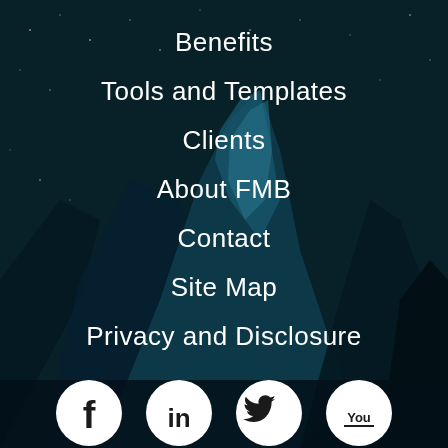Benefits
Tools and Templates
Clients
About FMB
Contact
Site Map
Privacy and Disclosure
[Figure (illustration): Four social media icons (Facebook, LinkedIn, Twitter, YouTube) as white circles on dark background, partially visible at bottom of page]